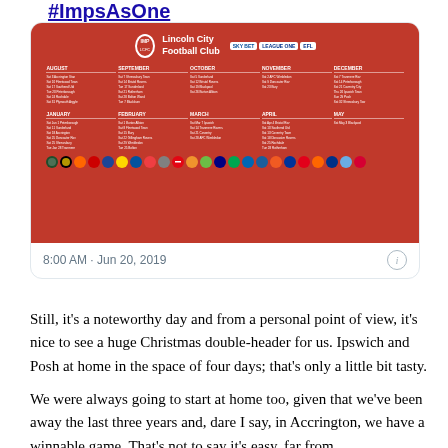#ImpsAsOne
[Figure (screenshot): A tweet showing Lincoln City Football Club's season fixture schedule card on a red background, with sponsor logos (Sky Bet, EFL), monthly fixture columns (August through May), and opponent team badges along the bottom. Timestamp: 8:00 AM · Jun 20, 2019]
Still, it's a noteworthy day and from a personal point of view, it's nice to see a huge Christmas double-header for us. Ipswich and Posh at home in the space of four days; that's only a little bit tasty.
We were always going to start at home too, given that we've been away the last three years and, dare I say, in Accrington, we have a winnable game. That's not to say it's easy, far from